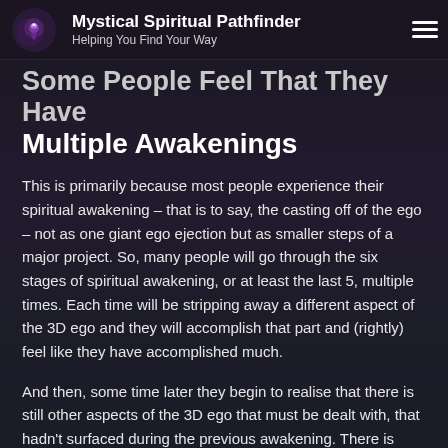Mystical Spiritual Pathfinder — Helping You Find Your Way
Some People Feel That They Have Multiple Awakenings
This is primarily because most people experience their spiritual awakening – that is to say, the casting off of the ego – not as one giant ego ejection but as smaller steps of a major project. So, many people will go through the six stages of spiritual awakening, or at least the last 5, multiple times. Each time will be stripping away a different aspect of the 3D ego and they will accomplish that part and (rightly) feel like they have accomplished much.
And then, some time later they begin to realise that there is still other aspects of the 3D ego that must be dealt with, that hadn't surfaced during the previous awakening. There is nothing wrong with this – and in